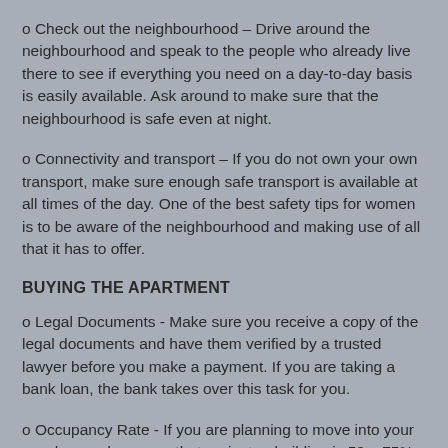o Check out the neighbourhood – Drive around the neighbourhood and speak to the people who already live there to see if everything you need on a day-to-day basis is easily available. Ask around to make sure that the neighbourhood is safe even at night.
o Connectivity and transport – If you do not own your own transport, make sure enough safe transport is available at all times of the day. One of the best safety tips for women is to be aware of the neighbourhood and making use of all that it has to offer.
BUYING THE APARTMENT
o Legal Documents - Make sure you receive a copy of the legal documents and have them verified by a trusted lawyer before you make a payment. If you are taking a bank loan, the bank takes over this task for you.
o Occupancy Rate - If you are planning to move into your new home, do ensure that project or building is 50 – 75%